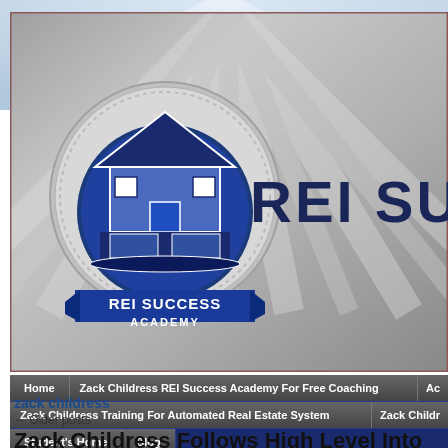[Figure (screenshot): REI Success Academy website header banner with logo and navigation menu]
zack childress
← Older posts
Zack Childress Follows High Level Into Strategies